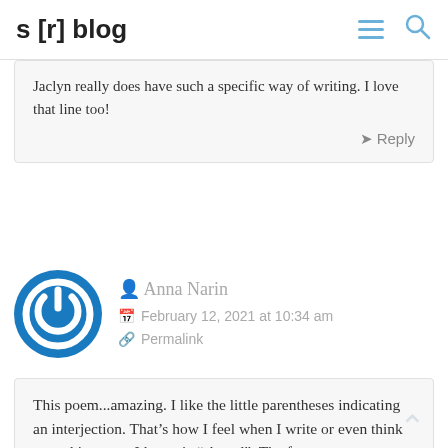s [r] blog
Jaclyn really does have such a specific way of writing. I love that line too!
Reply
Anna Narin
February 12, 2021 at 10:34 am
Permalink
This poem...amazing. I like the little parentheses indicating an interjection. That's how I feel when I write or even think something even I know is “absurd”. The format was very beautiful and complemented the contents of the poem